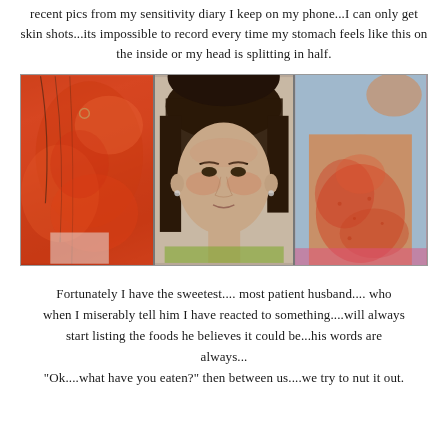recent pics from my sensitivity diary I keep on my phone...I can only get skin shots...its impossible to record every time my stomach feels like this on the inside or my head is splitting in half.
[Figure (photo): Three side-by-side photos: left shows a red inflamed neck/ear area, center shows a woman's face looking directly at the camera with slightly flushed skin, right shows a red/irritated arm or elbow area.]
Fortunately I have the sweetest.... most patient husband.... who when I miserably tell him I have reacted to something....will always start listing the foods he believes it could be...his words are always... "Ok....what have you eaten?" then between us....we try to nut it out.